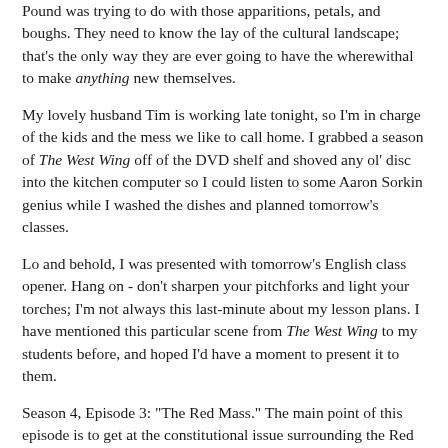Pound was trying to do with those apparitions, petals, and boughs. They need to know the lay of the cultural landscape; that's the only way they are ever going to have the wherewithal to make anything new themselves.
My lovely husband Tim is working late tonight, so I'm in charge of the kids and the mess we like to call home. I grabbed a season of The West Wing off of the DVD shelf and shoved any ol' disc into the kitchen computer so I could listen to some Aaron Sorkin genius while I washed the dishes and planned tomorrow's classes.
Lo and behold, I was presented with tomorrow's English class opener. Hang on - don't sharpen your pitchforks and light your torches; I'm not always this last-minute about my lesson plans. I have mentioned this particular scene from The West Wing to my students before, and hoped I'd have a moment to present it to them.
Season 4, Episode 3: "The Red Mass." The main point of this episode is to get at the constitutional issue surrounding the Red Mass. What's Red Mass, you ask? According to the President's valet Charley, "The Supreme Court convenes on the first Monday in October. On the Sunday before the first Monday, there's a mass held for the members of the court, their extended family, Cabinet members, members of Congress..."